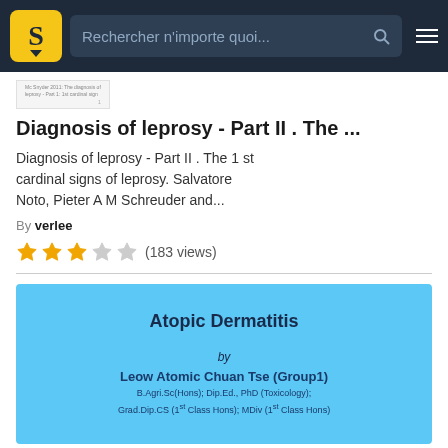Rechercher n'importe quoi...
[Figure (screenshot): Small thumbnail of a document page with text 'Mc Snyder 2011: The diagnosis of leprosy - Part 1: 1st cardinal sign']
Diagnosis of leprosy - Part II . The ...
Diagnosis of leprosy - Part II . The 1 st cardinal signs of leprosy. Salvatore Noto, Pieter A M Schreuder and...
By verlee
★★★☆☆ (183 views)
[Figure (screenshot): Blue card preview of document titled 'Atopic Dermatitis' by Leow Atomic Chuan Tse (Group1), B.Agri.Sc(Hons); Dip.Ed., PhD (Toxicology); Grad.Dip.CS (1st Class Hons); MDiv (1st Class Hons)]